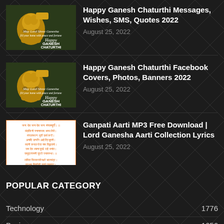[Figure (photo): Ganesh Chaturthi thumbnail image with golden Ganesha idol on dark green background with 'Happy Ganesh Chaturthi' text]
Happy Ganesh Chaturthi Messages, Wishes, SMS, Quotes 2022
August 25, 2022
[Figure (photo): Ganesh Chaturthi thumbnail image with golden Ganesha idol on dark green background with 'Happy Ganesh Chaturthi' text]
Happy Ganesh Chaturthi Facebook Covers, Photos, Banners 2022
August 25, 2022
[Figure (photo): White background image with orange/red Sanskrit text - Aarti lyrics]
Ganpati Aarti MP3 Free Download | Lord Ganesha Aarti Collection Lyrics
August 25, 2022
POPULAR CATEGORY
Technology 1776
Business 1656